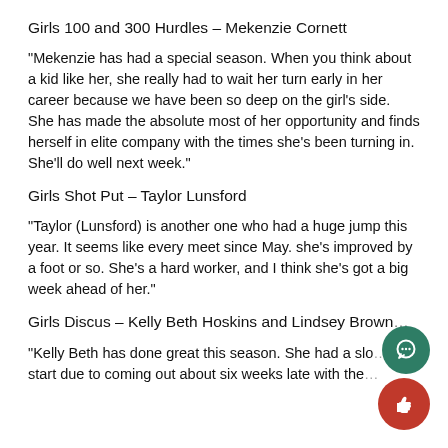Girls 100 and 300 Hurdles – Mekenzie Cornett
“Mekenzie has had a special season. When you think about a kid like her, she really had to wait her turn early in her career because we have been so deep on the girl’s side. She has made the absolute most of her opportunity and finds herself in elite company with the times she’s been turning in. She’ll do well next week.”
Girls Shot Put – Taylor Lunsford
“Taylor (Lunsford) is another one who had a huge jump this year. It seems like every meet since May. she’s improved by a foot or so. She’s a hard worker, and I think she’s got a big week ahead of her.”
Girls Discus – Kelly Beth Hoskins and Lindsey Brown…
“Kelly Beth has done great this season. She had a slo… start due to coming out about six weeks late with the…